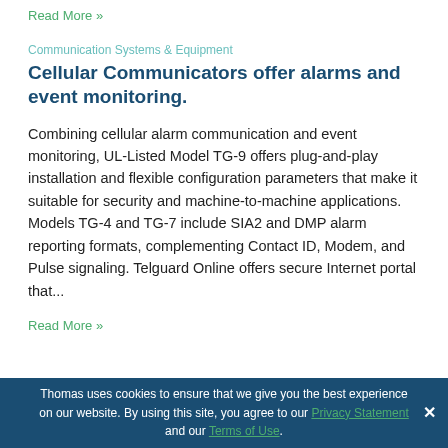Read More »
Communication Systems & Equipment
Cellular Communicators offer alarms and event monitoring.
Combining cellular alarm communication and event monitoring, UL-Listed Model TG-9 offers plug-and-play installation and flexible configuration parameters that make it suitable for security and machine-to-machine applications. Models TG-4 and TG-7 include SIA2 and DMP alarm reporting formats, complementing Contact ID, Modem, and Pulse signaling. Telguard Online offers secure Internet portal that...
Read More »
Thomas uses cookies to ensure that we give you the best experience on our website. By using this site, you agree to our Privacy Statement and our Terms of Use.